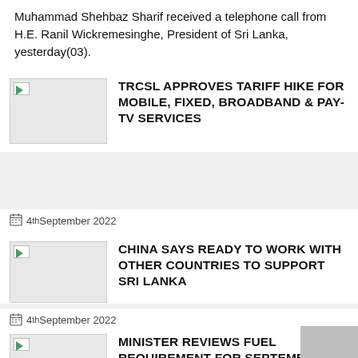Muhammad Shehbaz Sharif received a telephone call from H.E. Ranil Wickremesinghe, President of Sri Lanka, yesterday(03).
TRCSL APPROVES TARIFF HIKE FOR MOBILE, FIXED, BROADBAND & PAY-TV SERVICES
4th September 2022
CHINA SAYS READY TO WORK WITH OTHER COUNTRIES TO SUPPORT SRI LANKA
4th September 2022
MINISTER REVIEWS FUEL REQUIREMENT FOR SEPTEMBER AND OCTOBER